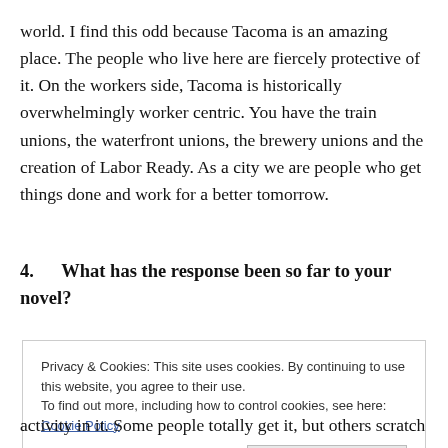world. I find this odd because Tacoma is an amazing place. The people who live here are fiercely protective of it. On the workers side, Tacoma is historically overwhelmingly worker centric. You have the train unions, the waterfront unions, the brewery unions and the creation of Labor Ready. As a city we are people who get things done and work for a better tomorrow.
4.    What has the response been so far to your novel?
Privacy & Cookies: This site uses cookies. By continuing to use this website, you agree to their use.
To find out more, including how to control cookies, see here: Cookie Policy
Close and accept
activity in it. Some people totally get it, but others scratch